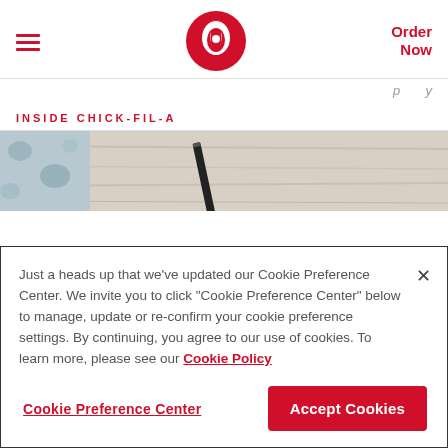Chick-fil-A navigation header with hamburger menu, logo, and Order Now button
...p...y...
INSIDE CHICK-FIL-A
[Figure (photo): Photo strip showing a floral fabric and what appears to be a pencil or stylus on a wooden surface]
Just a heads up that we've updated our Cookie Preference Center. We invite you to click "Cookie Preference Center" below to manage, update or re-confirm your cookie preference settings. By continuing, you agree to our use of cookies. To learn more, please see our Cookie Policy
Cookie Preference Center    Accept Cookies